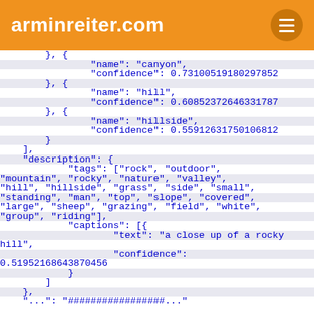arminreiter.com
}, {
            "name": "canyon",
            "confidence": 0.73100519180297852
        }, {
            "name": "hill",
            "confidence": 0.60852372646331787
        }, {
            "name": "hillside",
            "confidence": 0.55912631750106812
        }
    ],
    "description": {
            "tags": ["rock", "outdoor", "mountain", "rocky", "nature", "valley", "hill", "hillside", "grass", "side", "small", "standing", "man", "top", "slope", "covered", "large", "sheep", "grazing", "field", "white", "group", "riding"],
            "captions": [{
                    "text": "a close up of a rocky hill",
                    "confidence": 0.51952168643870456
            }
        ]
    },